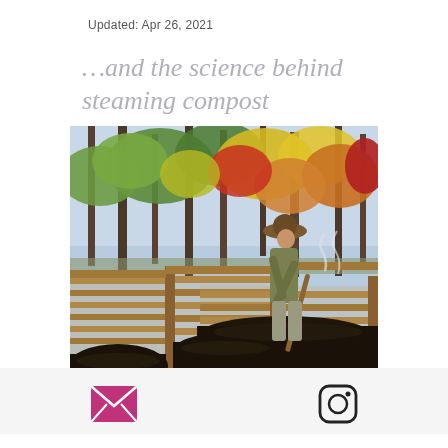Updated: Apr 26, 2021
…and the science behind steaming compost
[Figure (photo): A person wearing a hat and work clothes uses a shovel or rake to turn dark compost in large wooden slatted compost bins, with autumn trees in the background showing fall foliage colors of red, yellow, orange, and green.]
Email icon and Instagram icon